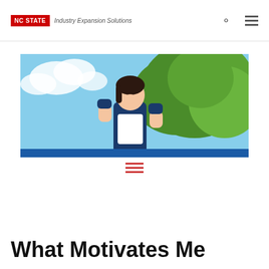NC STATE  Industry Expansion Solutions
[Figure (photo): Woman in business attire with fists raised in celebration, smiling against a backdrop of a green tree and blue sky]
≡
What Motivates Me